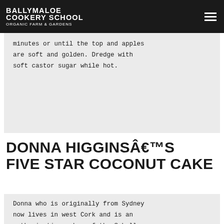BALLYMALOE COOKERY SCHOOL ORGANIC FARM & GARDENS
minutes or until the top and apples are soft and golden. Dredge with soft castor sugar while hot.
DONNA HIGGINSA€™S FIVE STAR COCONUT CAKE
Donna who is originally from Sydney now lives in west Cork and is an enthusiastic member of the Schull